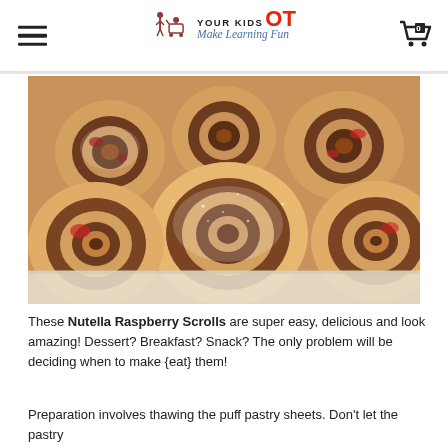YOUR KIDS OT — Make Learning Fun (logo with hamburger menu and cart)
[Figure (photo): Close-up photo of Nutella Raspberry Scrolls — several golden-brown pastry scrolls with dark chocolate-berry filling and sugar topping, arranged on a white surface.]
These Nutella Raspberry Scrolls are super easy, delicious and look amazing!  Dessert? Breakfast? Snack?  The only problem will be deciding when to make {eat} them!
Preparation involves thawing the puff pastry sheets.  Don't let the pastry